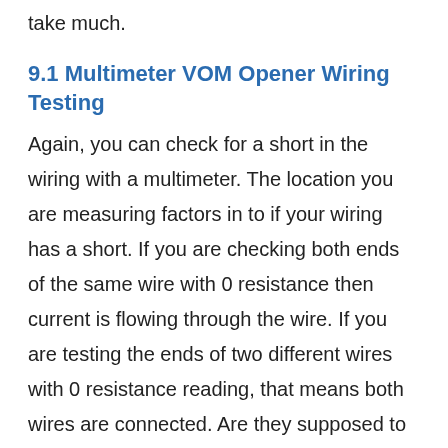take much.
9.1 Multimeter VOM Opener Wiring Testing
Again, you can check for a short in the wiring with a multimeter. The location you are measuring factors in to if your wiring has a short. If you are checking both ends of the same wire with 0 resistance then current is flowing through the wire. If you are testing the ends of two different wires with 0 resistance reading, that means both wires are connected. Are they supposed to be connected? If not, that indicates a short.